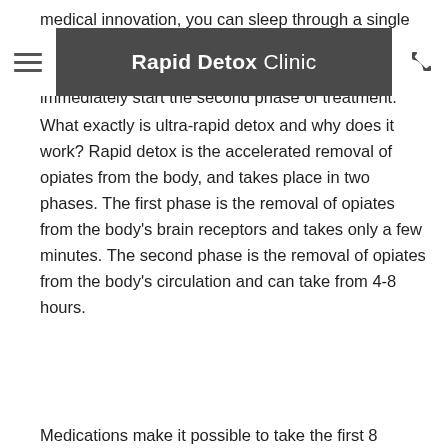medical innovation, you can sleep through a single treatment and the clinic will compress the length of withdrawal into 8 hours' time, allowing you to immediately start the second phase of treatment.
[Figure (screenshot): Navigation bar with hamburger menu button on left, 'Rapid Detox Clinic' logo in center, and phone icon button on right, on dark gray background]
What exactly is ultra-rapid detox and why does it work? Rapid detox is the accelerated removal of opiates from the body, and takes place in two phases. The first phase is the removal of opiates from the body's brain receptors and takes only a few minutes. The second phase is the removal of opiates from the body's circulation and can take from 4-8 hours.
Medications make it possible to take the first 8